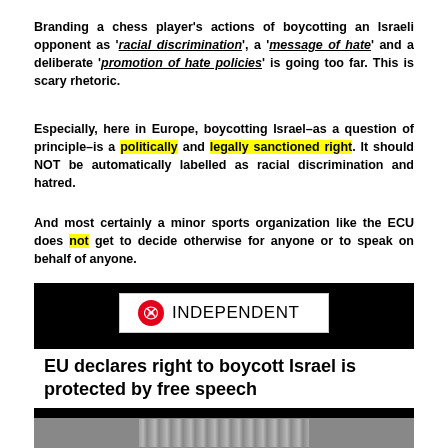Branding a chess player's actions of boycotting an Israeli opponent as 'racial discrimination', a 'message of hate' and a deliberate 'promotion of hate policies' is going too far. This is scary rhetoric.
Especially, here in Europe, boycotting Israel–as a question of principle–is a politically and legally sanctioned right. It should NOT be automatically labelled as racial discrimination and hatred.
And most certainly a minor sports organization like the ECU does not get to decide otherwise for anyone or to speak on behalf of anyone.
[Figure (screenshot): Screenshot of The Independent newspaper article with headline 'EU declares right to boycott Israel is protected by free speech']